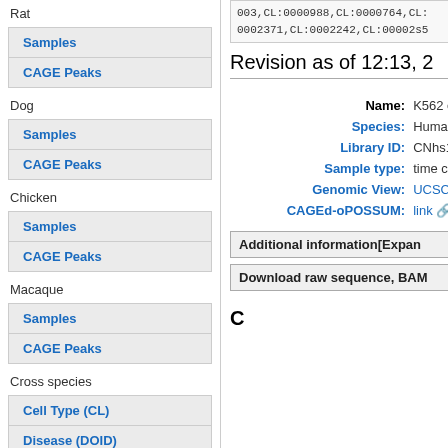Rat
Samples
CAGE Peaks
Dog
Samples
CAGE Peaks
Chicken
Samples
CAGE Peaks
Macaque
Samples
CAGE Peaks
Cross species
Cell Type (CL)
Disease (DOID)
003,CL:0000988,CL:0000764,CL:0002371,CL:0002242,CL:00002s5
Revision as of 12:13, 2
| Label | Value |
| --- | --- |
| Name: | K562 erythro |
| Species: | Human (Hom |
| Library ID: | CNhs12796 |
| Sample type: | time courses |
| Genomic View: | UCSC 🔗 |
| CAGEd-oPOSSUM: | link 🔗 |
Additional information[Expan
Download raw sequence, BAM
C